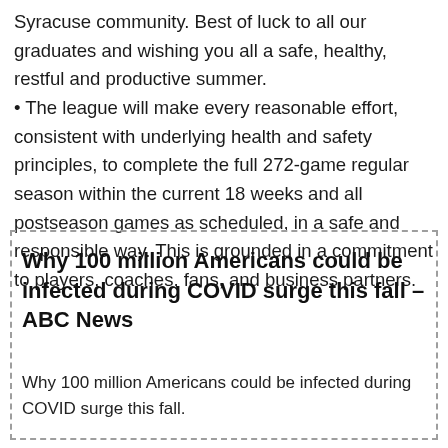Syracuse community. Best of luck to all our graduates and wishing you all a safe, healthy, restful and productive summer. • The league will make every reasonable effort, consistent with underlying health and safety principles, to complete the full 272-game regular season within the current 18 weeks and all postseason games as scheduled, in a safe and responsible way. This is grounded in a commitment to players, coaches, fans, and business partners.
Why 100 million Americans could be infected during COVID surge this fall – ABC News
Why 100 million Americans could be infected during COVID surge this fall.